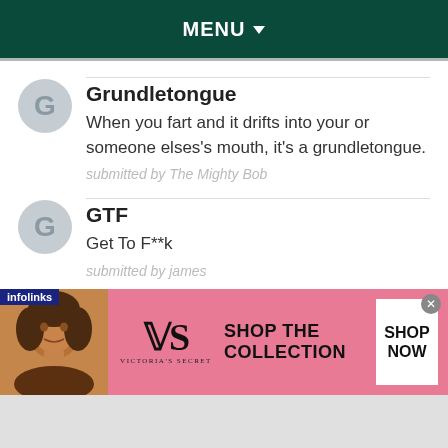MENU
Grundletongue
When you fart and it drifts into your or someone elses's mouth, it's a grundletongue.
submitted by The Mighty Bob
GTF
Get To F**k
submitted by james
[Figure (screenshot): Victoria's Secret advertisement banner with pink background showing a model, VS logo, 'SHOP THE COLLECTION' text and 'SHOP NOW' button]